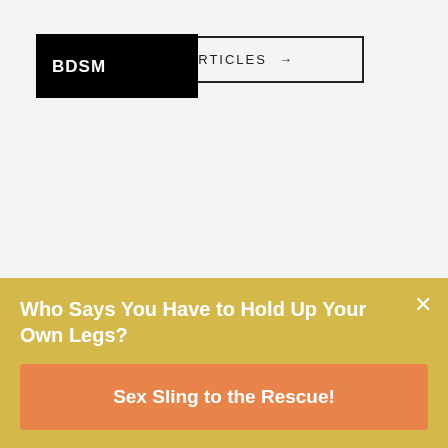ALL ARTICLES →
[Figure (logo): Black rectangle with white bold text BDSM]
Who Says You Have to Hold Up Your Own Legs?
Sex Sling to the Rescue!